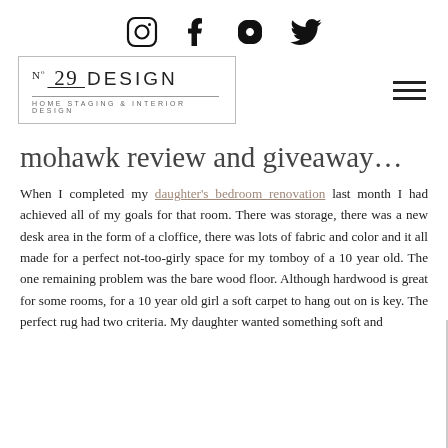[Social icons: Instagram, Pinterest, Facebook, Twitter]
[Figure (logo): No. 29 Design logo box with text 'N° 29 DESIGN / HOME STAGING & INTERIOR DESIGN' inside a rectangle border, and a hamburger menu icon to the right]
mohawk review and giveaway…
When I completed my daughter's bedroom renovation last month I had achieved all of my goals for that room. There was storage, there was a new desk area in the form of a cloffice, there was lots of fabric and color and it all made for a perfect not-too-girly space for my tomboy of a 10 year old. The one remaining problem was the bare wood floor. Although hardwood is great for some rooms, for a 10 year old girl a soft carpet to hang out on is key. The perfect rug had two criteria. My daughter wanted something soft and